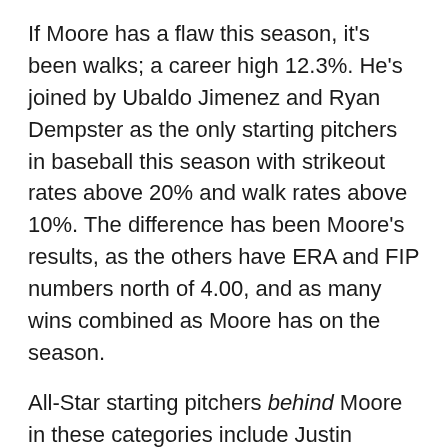If Moore has a flaw this season, it's been walks; a career high 12.3%. He's joined by Ubaldo Jimenez and Ryan Dempster as the only starting pitchers in baseball this season with strikeout rates above 20% and walk rates above 10%. The difference has been Moore's results, as the others have ERA and FIP numbers north of 4.00, and as many wins combined as Moore has on the season.
All-Star starting pitchers behind Moore in these categories include Justin Verlander (3.71 ERA, .263 BAA), Justin Masterson (3.78 ERA, .227 BAA), Hisashi Iwakuma (3.91 FIP, 22.2 K%), Bartolo Colon (13.9 K%, .257 BAA), and Felix Hernandez (.242 BAA). And that's not counting wins and losses! (See for yourself.)
Matt Moore is an All-Star caliber player. Plain and...